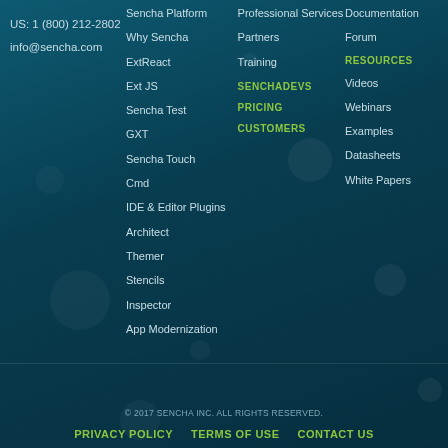US: 1 (800) 212-2802
info@sencha.com
Sencha Platform
Why Sencha
ExtReact
Ext JS
Sencha Test
GXT
Sencha Touch
Cmd
IDE & Editor Plugins
Architect
Themer
Stencils
Inspector
App Modernization
Professional Services
Partners
Training
SENCHADEVS
PRICING
CUSTOMERS
Documentation
Forum
RESOURCES
Videos
Webinars
Examples
Datasheets
White Papers
© 2017 SENCHA INC. ALL RIGHTS RESERVED.
PRIVACY POLICY   TERMS OF USE   CONTACT US